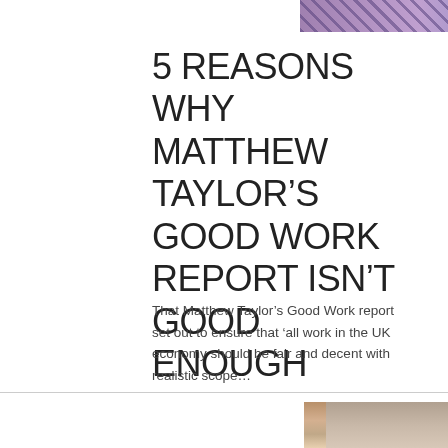[Figure (photo): Partial view of a colorful photo at top of page]
5 REASONS WHY MATTHEW TAYLOR'S GOOD WORK REPORT ISN'T GOOD ENOUGH
That Matthew Taylor's Good Work report set out to ensure that 'all work in the UK economy should be fair and decent with realistic scope...
[Figure (photo): Two partial photos at bottom: left shows a door/interior scene, right shows a door with a handle]
[Figure (photo): Right bottom image: glass door or partition]